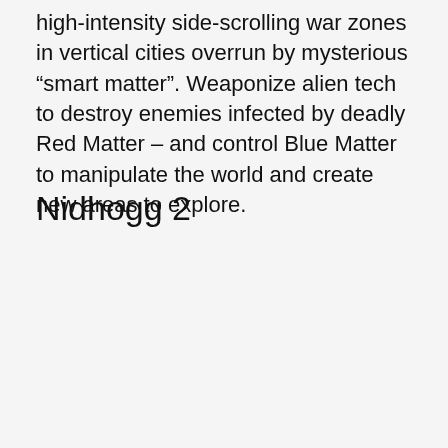high-intensity side-scrolling war zones in vertical cities overrun by mysterious “smart matter”. Weaponize alien tech to destroy enemies infected by deadly Red Matter – and control Blue Matter to manipulate the world and create new areas to explore.
Nidhogg 2